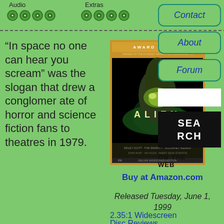Audio
[Figure (illustration): 4 green disc/rating icons for Audio]
Extras
[Figure (illustration): 4 green disc/rating icons for Extras]
of 5)
“In space no one can hear you scream” was the slogan that drew a conglomerate of horror and science fiction fans to theatres in 1979.
[Figure (photo): Alien DVD cover - Award Series edition showing alien head against black background]
Buy at Amazon.com
Released Tuesday, June 1, 1999
2.35:1 Widescreen
Disc Reviews
Contact
About
Forum
SEARCH
ON THE WEB